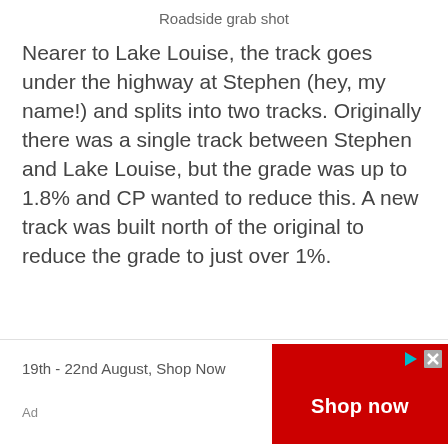Roadside grab shot
Nearer to Lake Louise, the track goes under the highway at Stephen (hey, my name!) and splits into two tracks. Originally there was a single track between Stephen and Lake Louise, but the grade was up to 1.8% and CP wanted to reduce this. A new track was built north of the original to reduce the grade to just over 1%.
[Figure (other): Advertisement banner: '19th - 22nd August, Shop Now' with a red 'Shop now' button and ad control icons]